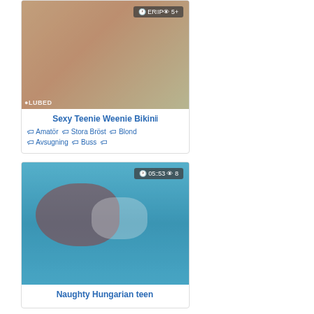[Figure (screenshot): Video thumbnail card: Sexy Teenie Weenie Bikini with tags Amatör, Stora Bröst, Blond, Avsugning, Buss]
Sexy Teenie Weenie Bikini
🏷 Amatör 🏷 Stora Bröst 🏷 Blond 🏷 Avsugning 🏷 Buss
[Figure (screenshot): Video thumbnail card: Naughty Hungarian teen, duration 05:53, views 8]
Naughty Hungarian teen
[Figure (screenshot): Video thumbnail card: duration 05:01, views 14]